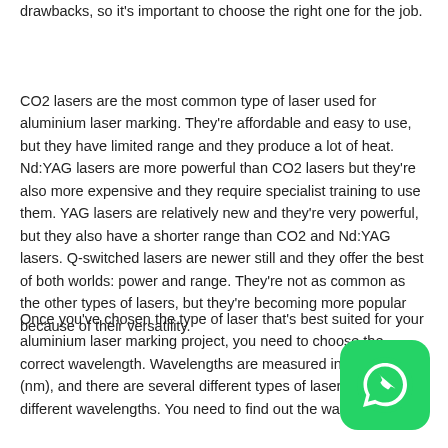drawbacks, so it's important to choose the right one for the job.
CO2 lasers are the most common type of laser used for aluminium laser marking. They're affordable and easy to use, but they have limited range and they produce a lot of heat. Nd:YAG lasers are more powerful than CO2 lasers but they're also more expensive and they require specialist training to use them. YAG lasers are relatively new and they're very powerful, but they also have a shorter range than CO2 and Nd:YAG lasers. Q-switched lasers are newer still and they offer the best of both worlds: power and range. They're not as common as the other types of lasers, but they're becoming more popular because of their versatility.
Once you've chosen the type of laser that's best suited for your aluminium laser marking project, you need to choose the correct wavelength. Wavelengths are measured in nanometers (nm), and there are several different types of lasers that use different wavelengths. You need to find out the wavelength of
[Figure (logo): WhatsApp logo button — green rounded square with white phone/chat icon]